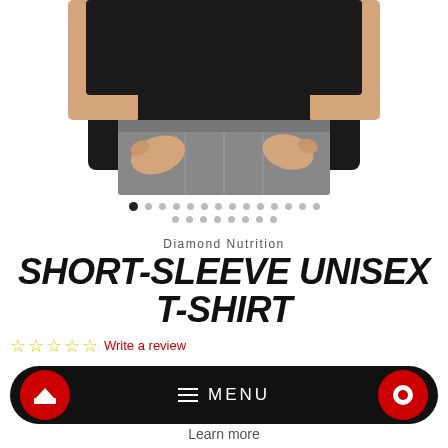[Figure (photo): Torso of a man wearing a black short-sleeve t-shirt and grey jeans, hands resting near pockets, white background]
• • • • • • • • • • • • • • (navigation dots, first active)
• • • • • • • • (navigation dots, second row)
Diamond Nutrition
SHORT-SLEEVE UNISEX T-SHIRT
☆☆☆☆☆ Write a review
≡ MENU
Learn more